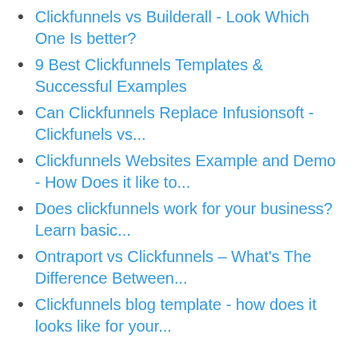Clickfunnels vs Builderall - Look Which One Is better?
9 Best Clickfunnels Templates & Successful Examples
Can Clickfunnels Replace Infusionsoft - Clickfunels vs...
Clickfunnels Websites Example and Demo - How Does it like to...
Does clickfunnels work for your business? Learn basic...
Ontraport vs Clickfunnels – What's The Difference Between...
Clickfunnels blog template - how does it looks like for your...